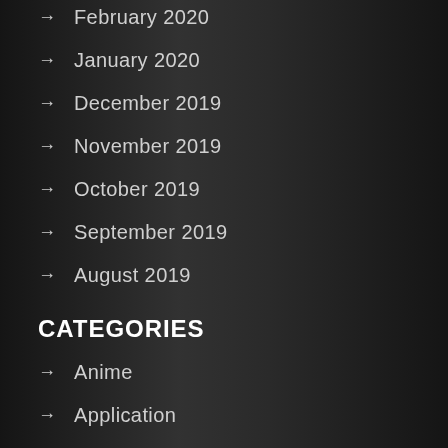→ February 2020
→ January 2020
→ December 2019
→ November 2019
→ October 2019
→ September 2019
→ August 2019
CATEGORIES
→ Anime
→ Application
→ Automobile